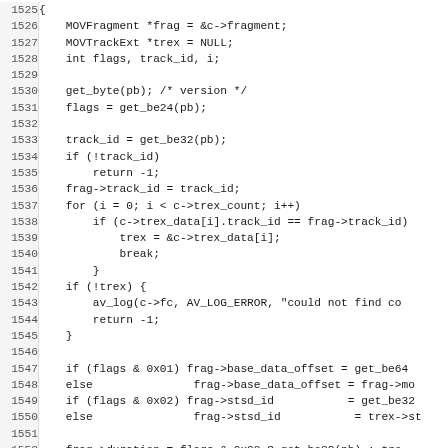Source code listing lines 1525-1557, C programming language code for MOV fragment parsing